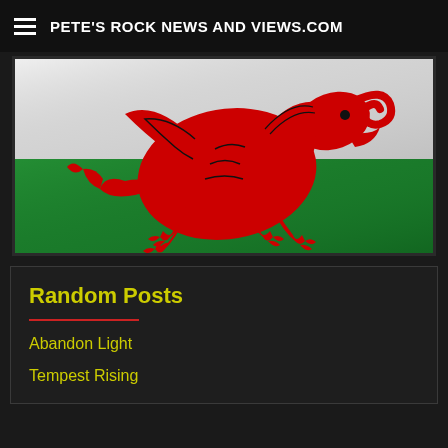PETE'S ROCK NEWS AND VIEWS.COM
[Figure (photo): Welsh flag (Y Ddraig Goch) showing a red dragon on a green and white background, photographed close-up with fabric texture visible]
Random Posts
Abandon Light
Tempest Rising